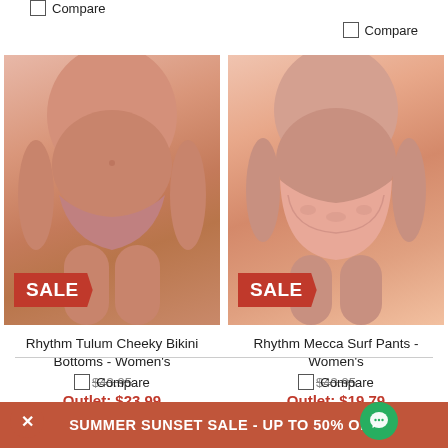Compare (top left)
Compare (top right)
[Figure (photo): Woman wearing pink bikini bottoms with SALE badge overlay]
[Figure (photo): Woman wearing pink patterned surf pants with SALE badge overlay]
Rhythm Tulum Cheeky Bikini Bottoms - Women's
$43.95 (strikethrough)
Outlet: $23.99
LIMITED TIME
Rhythm Mecca Surf Pants - Women's
$43.95 (strikethrough)
Outlet: $19.79
LIMITED TIME
Compare (bottom left)
Compare (bottom right)
SUMMER SUNSET SALE - UP TO 50% OFF